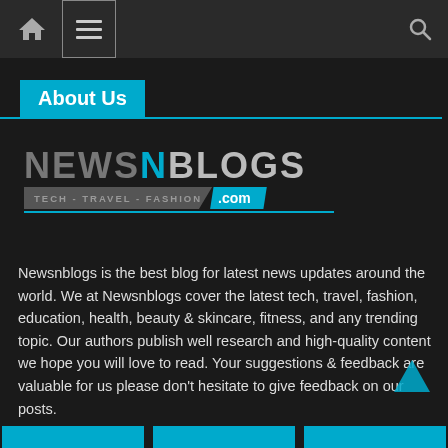Navigation bar with home icon, menu icon, and search icon
About Us
[Figure (logo): NewsnBlogs logo with tagline TECH - TRAVEL - FASHION .com]
Newsnblogs is the best blog for latest news updates around the world. We at Newsnblogs cover the latest tech, travel, fashion, education, health, beauty & skincare, fitness, and any trending topic. Our authors publish well research and high-quality content we hope you will love to read. Your suggestions & feedback are valuable for us please don't hesitate to give feedback on our posts.